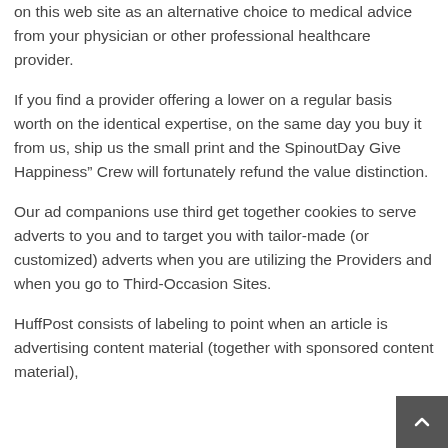on this web site as an alternative choice to medical advice from your physician or other professional healthcare provider.
If you find a provider offering a lower on a regular basis worth on the identical expertise, on the same day you buy it from us, ship us the small print and the SpinoutDay Give Happiness” Crew will fortunately refund the value distinction.
Our ad companions use third get together cookies to serve adverts to you and to target you with tailor-made (or customized) adverts when you are utilizing the Providers and when you go to Third-Occasion Sites.
HuffPost consists of labeling to point when an article is advertising content material (together with sponsored content material),